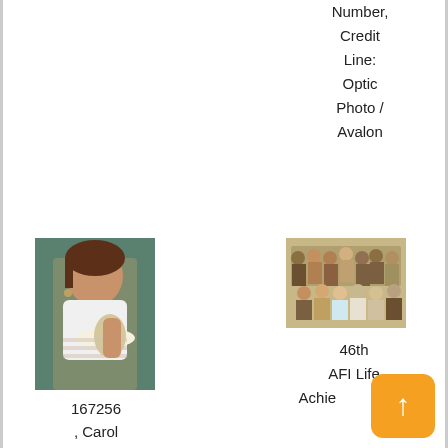Number, Credit Line: Optic Photo / Avalon
[Figure (photo): Woman in white top holding a white hat, seated outdoors]
167256 , Carol
[Figure (photo): Group formal family portrait, christening or official gathering]
46th AFI Life Achievement ment